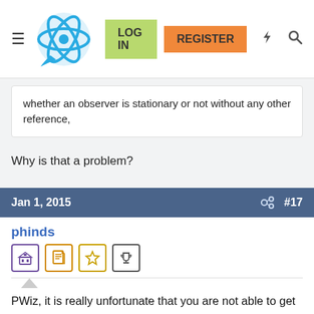LOG IN | REGISTER
whether an observer is stationary or not without any other reference,
Why is that a problem?
Jan 1, 2015   #17
phinds
PWiz, it is really unfortunate that you are not able to get past this. As has been pointed out to you over and over, you are simply mistaken. As Vanadium just said, the universe just doesn't work the way you want it to.